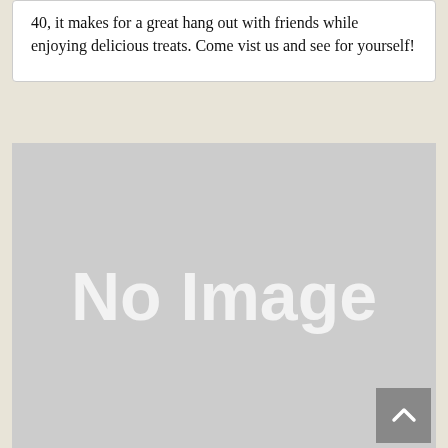40, it makes for a great hang out with friends while enjoying delicious treats. Come vist us and see for yourself!
[Figure (photo): A large placeholder image area with light gray background and 'No Image' text in white, with a scroll-to-top button in the bottom right corner.]